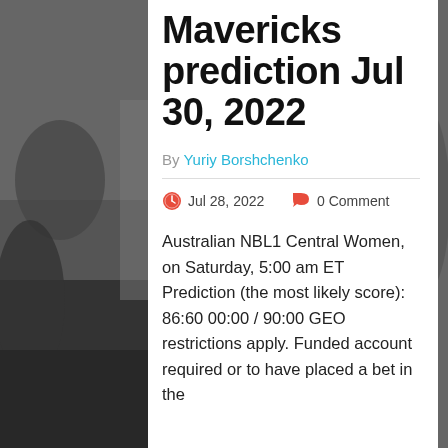[Figure (photo): Black and white background photo of American football players in action]
Mavericks prediction Jul 30, 2022
By Yuriy Borshchenko
Jul 28, 2022   0 Comment
Australian NBL1 Central Women, on Saturday, 5:00 am ET Prediction (the most likely score): 86:60 00:00 / 90:00 GEO restrictions apply. Funded account required or to have placed a bet in the